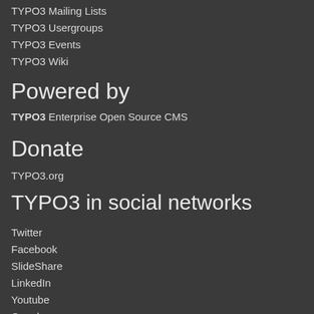TYPO3 Mailing Lists
TYPO3 Usergroups
TYPO3 Events
TYPO3 Wiki
Powered by
TYPO3 Enterprise Open Source CMS
Donate
TYPO3.org
TYPO3 in social networks
Twitter
Facebook
SlideShare
LinkedIn
Youtube
Google+